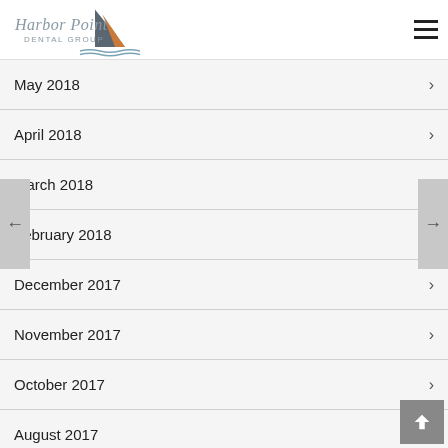[Figure (logo): Harbor Point Dental Group logo with sailboat illustration]
May 2018
April 2018
March 2018
February 2018
December 2017
November 2017
October 2017
August 2017
July 2017
March 2017